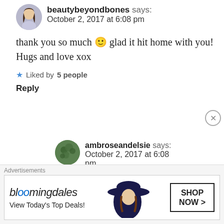[Figure (illustration): Round avatar photo of a woman with long dark hair]
beautybeyondbones says: October 2, 2017 at 6:08 pm
thank you so much 🙂 glad it hit home with you! Hugs and love xox
★ Liked by 5 people
Reply
[Figure (illustration): Round avatar photo with green foliage background]
ambroseandelsie says: October 2, 2017 at 6:08 pm
Hugs and love back at ya, girl! 😀
Advertisements
[Figure (illustration): Bloomingdale's advertisement banner showing a woman in a large hat. Text: bloomingdales, View Today's Top Deals!, SHOP NOW >]